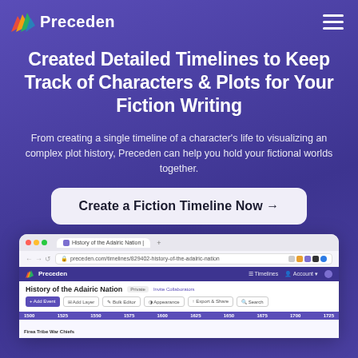Preceden
Created Detailed Timelines to Keep Track of Characters & Plots for Your Fiction Writing
From creating a single timeline of a character's life to visualizing an complex plot history, Preceden can help you hold your fictional worlds together.
Create a Fiction Timeline Now →
[Figure (screenshot): Browser screenshot showing the Preceden timeline app with 'History of the Adairic Nation' timeline open, displaying a year axis from 1500 to 1725 with toolbar buttons: Add Event, Add Layer, Bulk Editor, Appearance, Export & Share, Search.]